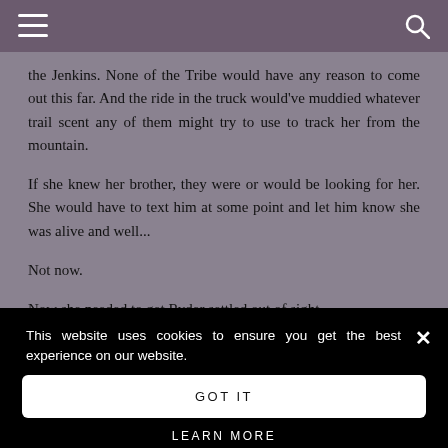the Jenkins. None of the Tribe would have any reason to come out this far. And the ride in the truck would've muddied whatever trail scent any of them might try to use to track her from the mountain.
If she knew her brother, they were or would be looking for her. She would have to text him at some point and let him know she was alive and well...
Not now.
Now she needed to get Ryder settled out of sight.
This website uses cookies to ensure you get the best experience on our website.
GOT IT
LEARN MORE